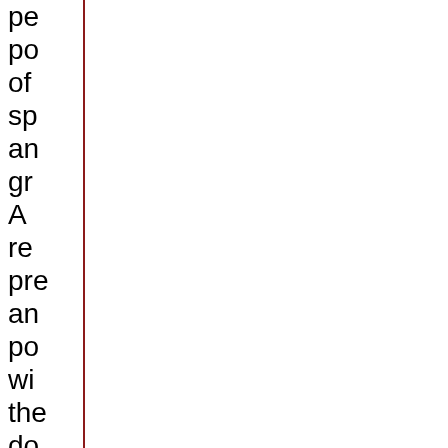pe
po
of
sp
an
gr
A
re
pre
an
po
wi
the
do
bre
the
ba
10
Me